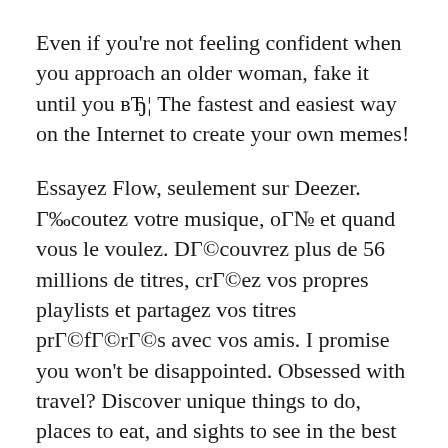Even if you're not feeling confident when you approach an older woman, fake it until you вЂ¦ The fastest and easiest way on the Internet to create your own memes!
Essayez Flow, seulement sur Deezer. Г‰coutez votre musique, оГ№ et quand vous le voulez. DГ©couvrez plus de 56 millions de titres, crГ©ez vos propres playlists et partagez vos titres prГ©fГ©rГ©s avec vos amis. I promise you won't be disappointed. Obsessed with travel? Discover unique things to do, places to eat, and sights to see in the best destinations around the world with Bring Me!
The fastest and easiest way on the Internet to create your own memes! 2020 Meme Center...